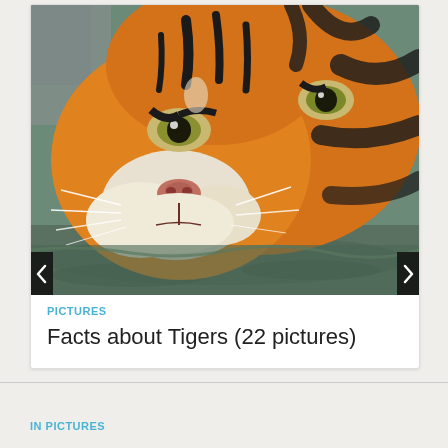[Figure (photo): Close-up photograph of a tiger's face partially submerged in water, showing orange and black stripes, white whiskers, and intense eyes]
PICTURES
Facts about Tigers (22 pictures)
IN PICTURES